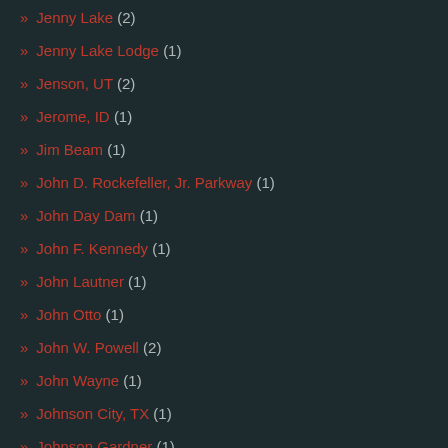» Jenny Lake (2)
» Jenny Lake Lodge (1)
» Jenson, UT (2)
» Jerome, ID (1)
» Jim Beam (1)
» John D. Rockefeller, Jr. Parkway (1)
» John Day Dam (1)
» John F. Kennedy (1)
» John Lautner (1)
» John Otto (1)
» John W. Powell (2)
» John Wayne (1)
» Johnson City, TX (1)
» Johnson Gardner (1)
» Jonathan Keeney (1)